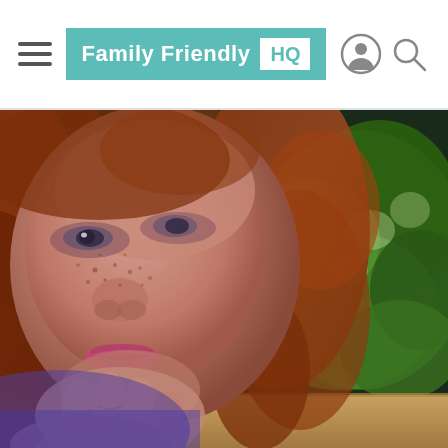Family Friendly HQ
[Figure (photo): Close-up photo of a red-haired girl with freckles resting her chin on her hand, looking downward with a slight smile. Green garden foliage visible in the background to the right.]